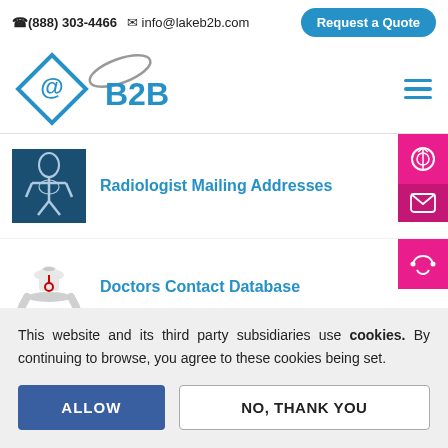(888) 303-4466   info@lakeb2b.com   Request a Quote
[Figure (logo): LakeB2B logo with @ symbol in blue diamond and B2B text with orbit arc]
Radiologist Mailing Addresses
Doctors Contact Database
This website and its third party subsidiaries use cookies. By continuing to browse, you agree to these cookies being set.
ALLOW
NO, THANK YOU